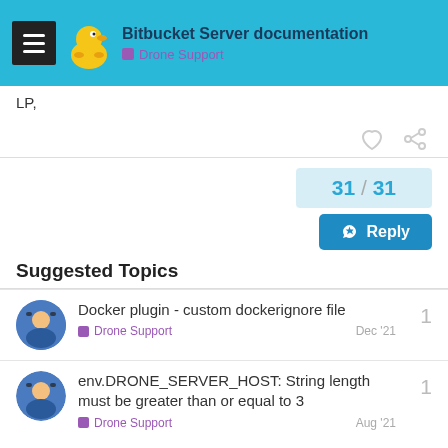Bitbucket Server documentation — Drone Support
LP,
31 / 31
Suggested Topics
Docker plugin - custom dockerignore file
Drone Support
Dec '21
Replies: 1
env.DRONE_SERVER_HOST: String length must be greater than or equal to 3
Drone Support
Aug '21
Replies: 1